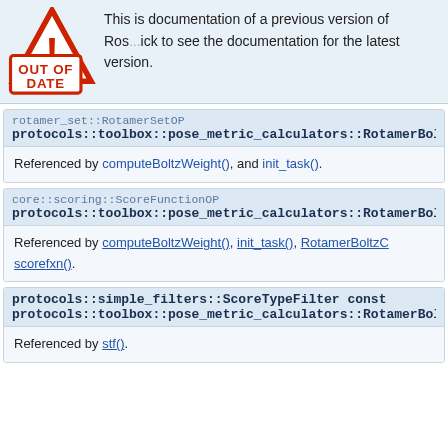[Figure (illustration): Warning banner with 'OUT OF DATE' stamp over triangle warning icon, with text: 'This is documentation of a previous version of Ros... ick to see the documentation for the latest version.']
Referenced by computeBoltzWeight(), and init_task().
core::scoring::ScoreFunctionOP protocols::toolbox::pose_metric_calculators::RotamerBoltzCalc...
Referenced by computeBoltzWeight(), init_task(), RotamerBoltzC... scorefxn().
protocols::simple_filters::ScoreTypeFilter const protocols::toolbox::pose_metric_calculators::RotamerBoltzCalc...
Referenced by stf().